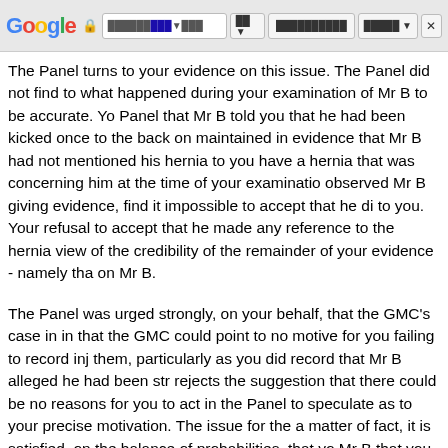Google browser toolbar
The Panel turns to your evidence on this issue. The Panel did not find to what happened during your examination of Mr B to be accurate. Panel that Mr B told you that he had been kicked once to the back on maintained in evidence that Mr B had not mentioned his hernia to you have a hernia that was concerning him at the time of your examination observed Mr B giving evidence, find it impossible to accept that he di to you. Your refusal to accept that he made any reference to the hernia view of the credibility of the remainder of your evidence - namely tha on Mr B.
The Panel was urged strongly, on your behalf, that the GMC's case in in that the GMC could point to no motive for you failing to record inj them, particularly as you did record that Mr B alleged he had been str rejects the suggestion that there could be no reasons for you to act in the Panel to speculate as to your precise motivation. The issue for the a matter of fact, it is satisfied, on the balance of probabilities, that you Mr B that you failed to record.
The Panel makes it clear that it does not believe that the mere presence sufficient to establish this part of the Allegation, a hernia not being a